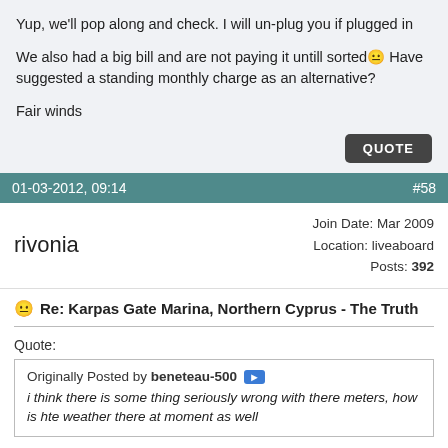Yup, we'll pop along and check. I will un-plug you if plugged in
We also had a big bill and are not paying it untill sorted 😊 Have suggested a standing monthly charge as an alternative?
Fair winds
QUOTE
01-03-2012, 09:14   #58
rivonia
Join Date: Mar 2009
Location: liveaboard
Posts: 392
Re: Karpas Gate Marina, Northern Cyprus - The Truth
Quote:
Originally Posted by beneteau-500
i think there is some thing seriously wrong with there meters, how is hte weather there at moment as well
Strong winds and have had some heavy rain,lightning and the other day HAIL. Snow in Nicosia.